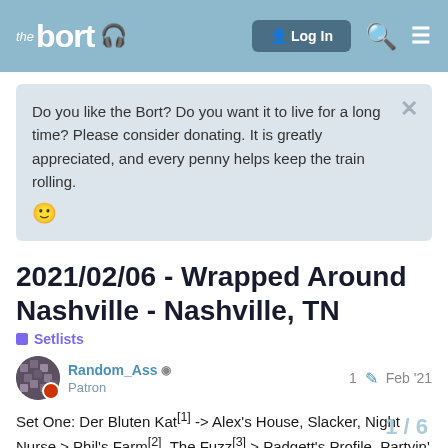the bort | Log In
Do you like the Bort? Do you want it to live for a long time? Please consider donating. It is greatly appreciated, and every penny helps keep the train rolling. 🙂
2021/02/06 - Wrapped Around Nashville - Nashville, TN
Setlists
Random_Ass  Patron  1  Feb '21
Set One: Der Bluten Kat[1] -> Alex's House, Slacker, Night Nurse > Phil's Farm[2], The Fuzz[3] > Padgett's Profile, Partyin' Peeps
1 / 6